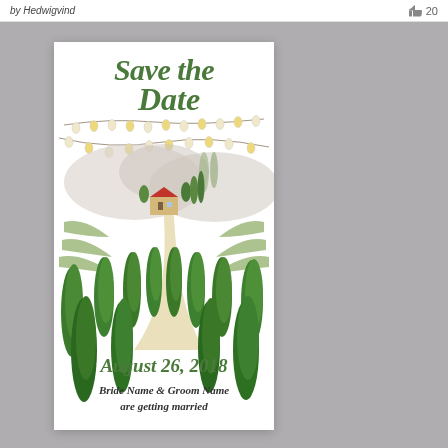by Hedwigvind   👍 20
[Figure (illustration): Wedding Save the Date card with watercolor Tuscan landscape illustration. Features decorative script text 'Save the Date', string lights with Edison bulbs, a scenic Tuscan countryside with cypress trees, vineyards, rolling hills, and a farmhouse along a winding path. Bottom text reads 'August 26, 2018', 'Bride Name & Groom Name', 'are getting married'.]